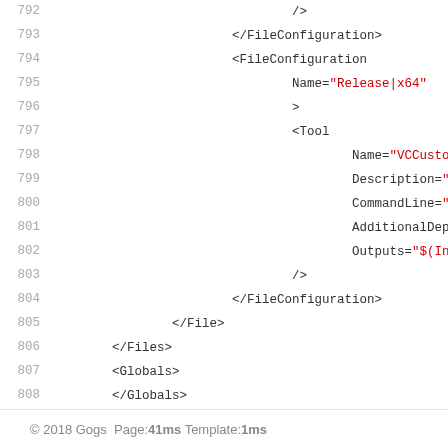Code listing lines 792-809: XML configuration snippet showing FileConfiguration and Tool elements
© 2018 Gogs Page: 41ms Template: 1ms